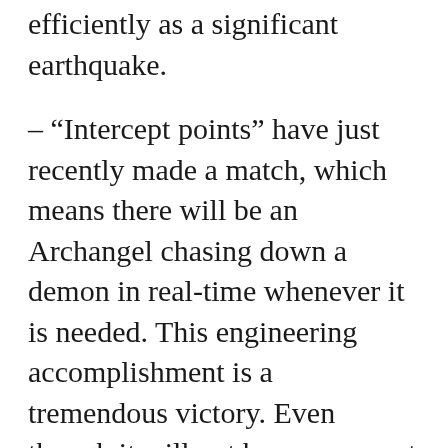efficiently as a significant earthquake.
– “Intercept points” have just recently made a match, which means there will be an Archangel chasing down a demon in real-time whenever it is needed. This engineering accomplishment is a tremendous victory. Even though it will not be so apparent to the naked eye, this is a simplistic way to describe this immense truth.
– Electrically charged energy boosts cloak as lighting. These bolts are not to be confused with evil lightning from various starships.